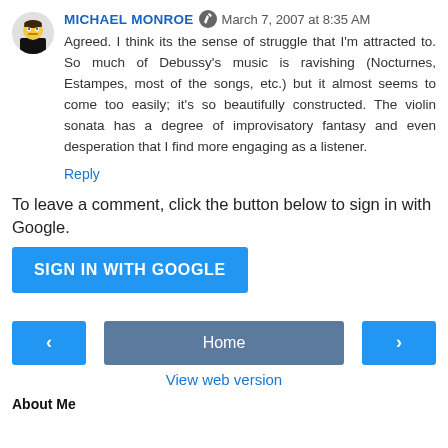MICHAEL MONROE  March 7, 2007 at 8:35 AM
Agreed. I think its the sense of struggle that I'm attracted to. So much of Debussy's music is ravishing (Nocturnes, Estampes, most of the songs, etc.) but it almost seems to come too easily; it's so beautifully constructed. The violin sonata has a degree of improvisatory fantasy and even desperation that I find more engaging as a listener.
Reply
To leave a comment, click the button below to sign in with Google.
SIGN IN WITH GOOGLE
Home
View web version
About Me